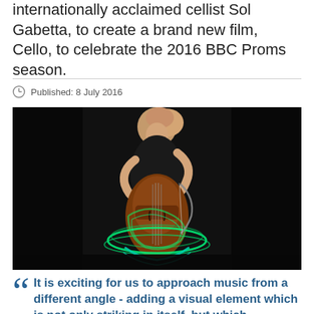internationally acclaimed cellist Sol Gabetta, to create a brand new film, Cello, to celebrate the 2016 BBC Proms season.
Published: 8 July 2016
[Figure (photo): A female cellist playing cello on a darkened stage, with green and teal light trails swirling around the instrument, creating a dramatic visual effect.]
It is exciting for us to approach music from a different angle - adding a visual element which is not only striking in itself, but which